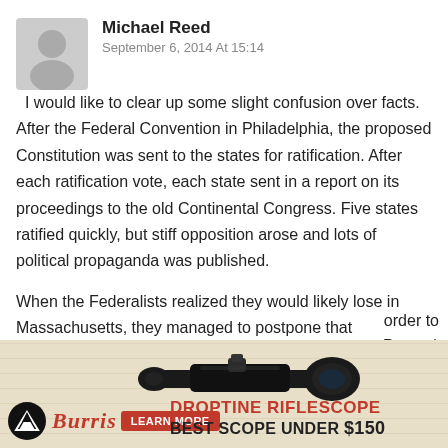[Figure (illustration): Gray avatar silhouette of a person in a rounded square]
Michael Reed
September 6, 2014 At 15:14
I would like to clear up some slight confusion over facts. After the Federal Convention in Philadelphia, the proposed Constitution was sent to the states for ratification. After each ratification vote, each state sent in a report on its proceedings to the old Continental Congress. Five states ratified quickly, but stiff opposition arose and lots of political propaganda was published.
When the Federalists realized they would likely lose in Massachusetts, they managed to postpone that order to st Papers) et s
[Figure (advertisement): Burris Droptine Riflescope advertisement banner with a riflescope image, Burris logo, LEARN MORE button, text DROPTINE RIFLESCOPE BEST SCOPE UNDER $150]